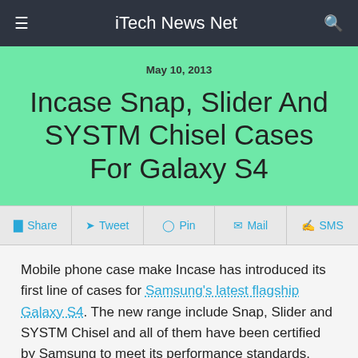iTech News Net
May 10, 2013
Incase Snap, Slider And SYSTM Chisel Cases For Galaxy S4
f Share  Tweet  Pin  Mail  SMS
Mobile phone case make Incase has introduced its first line of cases for Samsung's latest flagship Galaxy S4. The new range include Snap, Slider and SYSTM Chisel and all of them have been certified by Samsung to meet its performance standards.